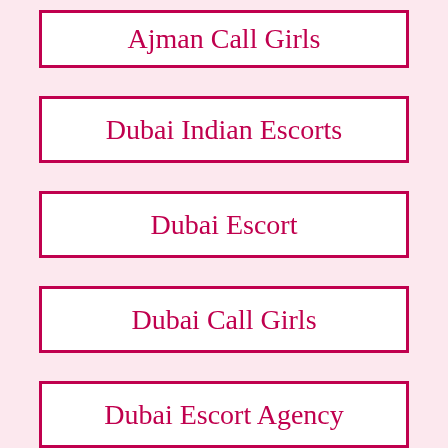Ajman Call Girls
Dubai Indian Escorts
Dubai Escort
Dubai Call Girls
Dubai Escort Agency